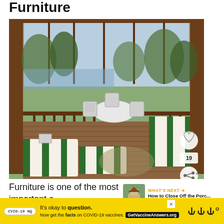Furniture
[Figure (photo): Screened-in porch with green and white striped cushioned furniture, white metal dining table and chairs, wooden deck flooring, and a view of trees and a lake through the screens. Heart and share buttons visible on the right side of the image with the number 19.]
[Figure (photo): WHAT'S NEXT thumbnail showing a house. Text: How to Close Off the Porc...]
Furniture is one of the most important c... of a screened-in porch. With cozy furniture like th... gr...
[Figure (screenshot): Advertisement banner with yellow background. Shows a pill badge logo, text 'It’s okay to question. Now get the facts on COVID-19 vaccines. GetVaccineAnswers.org' and a weather/news logo on the right. A close (X) button is visible.]